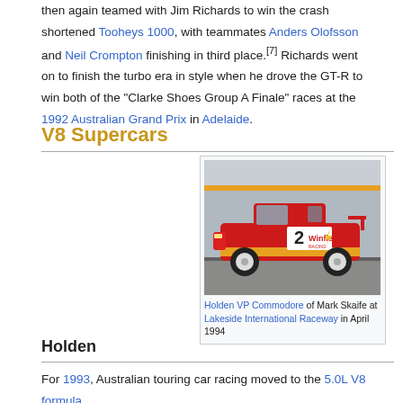then again teamed with Jim Richards to win the crash shortened Tooheys 1000, with teammates Anders Olofsson and Neil Crompton finishing in third place.[7] Richards went on to finish the turbo era in style when he drove the GT-R to win both of the "Clarke Shoes Group A Finale" races at the 1992 Australian Grand Prix in Adelaide.
V8 Supercars
[Figure (photo): Holden VP Commodore of Mark Skaife at Lakeside International Raceway, April 1994. Red and yellow racing car with number 2 Winfield livery.]
Holden VP Commodore of Mark Skaife at Lakeside International Raceway in April 1994
Holden
For 1993, Australian touring car racing moved to the 5.0L V8 formula